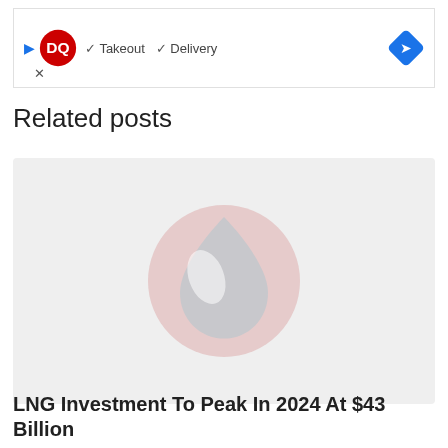[Figure (other): Dairy Queen advertisement banner with DQ logo, play button, checkmarks for Takeout and Delivery, and a blue direction arrow icon]
Related posts
[Figure (other): Article thumbnail image placeholder with a Drupal-style water drop logo icon on a light gray background]
LNG Investment To Peak In 2024 At $43 Billion